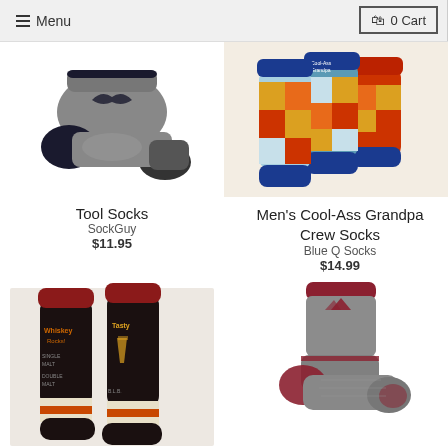Menu | 0 Cart
[Figure (photo): Grey ankle athletic sock (Tool Socks by SockGuy) shown from side angle on white background]
[Figure (photo): Three colorful patchwork crew socks (Men's Cool-Ass Grandpa) in blue, red, yellow, orange on beige background with text 'Cool-Ass Grandpa']
Tool Socks
SockGuy
$11.95
Men's Cool-Ass Grandpa Crew Socks
Blue Q Socks
$14.99
[Figure (photo): Two dark navy/maroon crew socks with whiskey-themed text and orange/cream striped ankle band on off-white background]
[Figure (photo): Grey hiking ankle sock with maroon accents and mountain logo on white background]